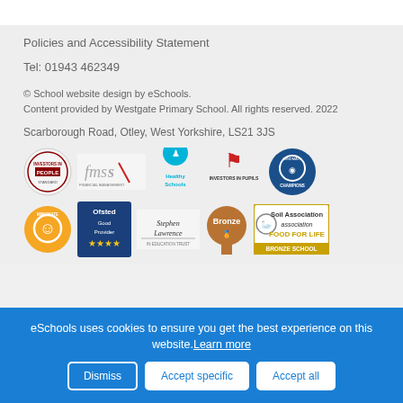Policies and Accessibility Statement
Tel: 01943 462349
© School website design by eSchools.
Content provided by Westgate Primary School. All rights reserved. 2022
Scarborough Road, Otley, West Yorkshire, LS21 3JS
[Figure (logo): Row of school accreditation logos: Investors in People, fmsis, Healthy Schools, Investors in Pupils, Mindmate Champions]
[Figure (logo): Row of school accreditation logos: Mindmate, Ofsted Good Provider, Stephen Lawrence, Bronze Award, Soil Association Food For Life Bronze School]
eSchools uses cookies to ensure you get the best experience on this website. Learn more
Dismiss
Accept specific
Accept all